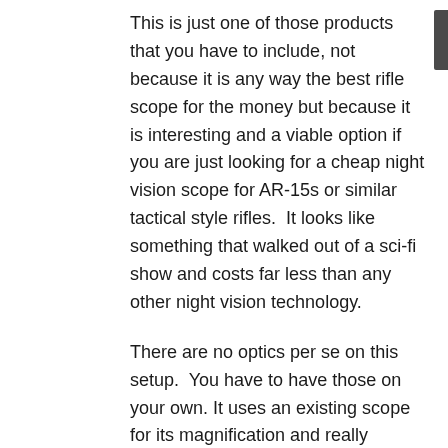This is just one of those products that you have to include, not because it is any way the best rifle scope for the money but because it is interesting and a viable option if you are just looking for a cheap night vision scope for AR-15s or similar tactical style rifles.  It looks like something that walked out of a sci-fi show and costs far less than any other night vision technology.
There are no optics per se on this setup.  You have to have those on your own. It uses an existing scope for its magnification and really benefits from scopes that are of lower power, something at 8 power or less for a preference.  The better the scope, the better the results.